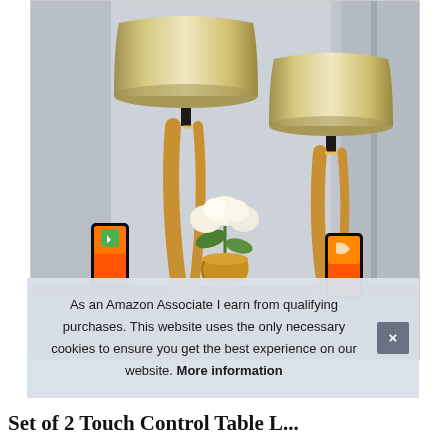[Figure (photo): Two gold/brass table lamps with beige linen drum shades on a table, with white flower arrangement in gold vase in the center. Each lamp has a smartphone with charging icon leaning against its base. Room has neutral gray background.]
As an Amazon Associate I earn from qualifying purchases. This website uses the only necessary cookies to ensure you get the best experience on our website. More information
Set of 2 Touch Control Table L...